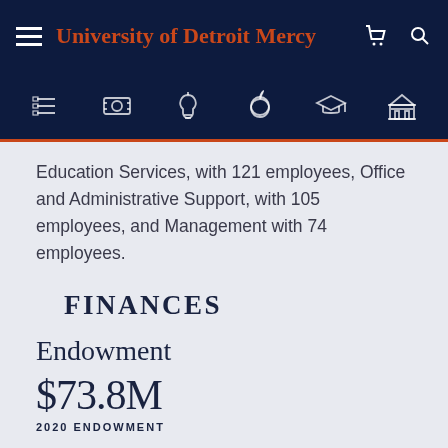University of Detroit Mercy
Education Services, with 121 employees, Office and Administrative Support, with 105 employees, and Management with 74 employees.
FINANCES
Endowment
$73.8M
2020 ENDOWMENT
6.56%
GROWTH FROM 2019
University of Detroit Mercy has an endowment valued at